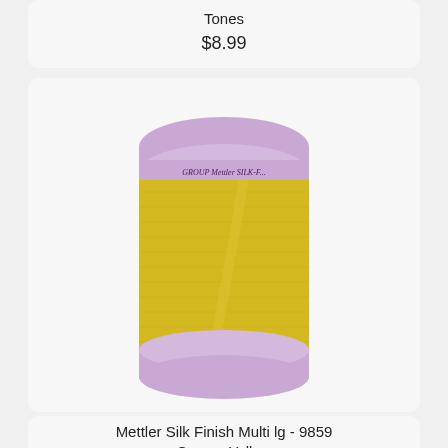Tones
$8.99
[Figure (photo): A spool of Mettler Silk Finish Multi large thread in Canary Yellow color (product 9859), with lavender/purple top and bottom rims and yellow thread wound around the spool body. Label reads GROUP Mettler SILK-F... merc. No.50 457m/500y]
Mettler Silk Finish Multi lg - 9859 Canary Yellow
$8.99
[Figure (photo): Partial view of another spool of Mettler Silk Finish Multi thread with multicolored (green, yellow, olive) thread and lavender rims, cropped at the top of the page section.]